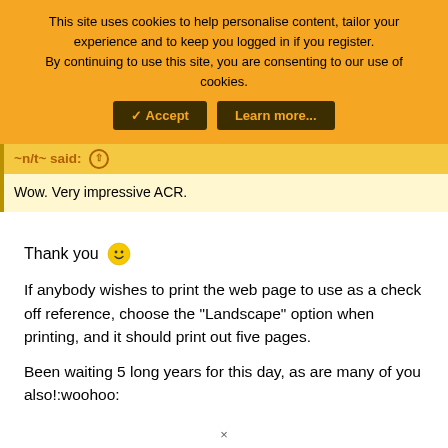This site uses cookies to help personalise content, tailor your experience and to keep you logged in if you register. By continuing to use this site, you are consenting to our use of cookies.
Accept | Learn more...
~n/t~ said: ↑
Wow. Very impressive ACR.
Thank you 🙂
If anybody wishes to print the web page to use as a check off reference, choose the "Landscape" option when printing, and it should print out five pages.
Been waiting 5 long years for this day, as are many of you also!:woohoo:
×